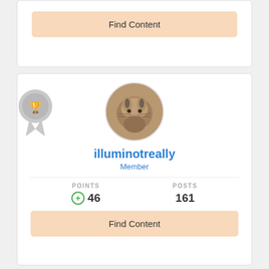[Figure (screenshot): Top card partial showing a Find Content button with peach/orange background]
Find Content
[Figure (screenshot): Middle user profile card for illuminotreally with cat avatar, grey badge icon, Member role, 46 points, 161 posts, and Find Content button]
illuminotreally
Member
POINTS
46
POSTS
161
Find Content
[Figure (screenshot): Bottom card partial showing an orange badge icon and a circular avatar with a lake/nature scene]